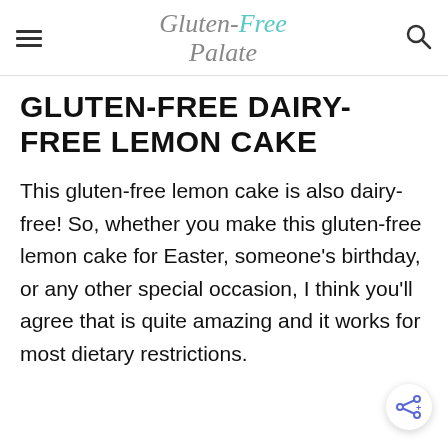Gluten-Free Palate
GLUTEN-FREE DAIRY-FREE LEMON CAKE
This gluten-free lemon cake is also dairy-free! So, whether you make this gluten-free lemon cake for Easter, someone's birthday, or any other special occasion, I think you'll agree that is quite amazing and it works for most dietary restrictions.